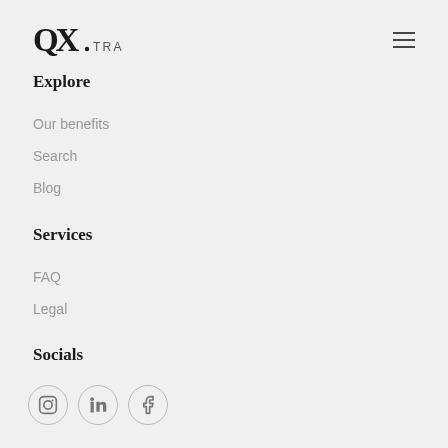QX TRAVEL
Explore
Our benefits
Search
Blog
Services
FAQ
Legal
Socials
[Figure (illustration): Social media icons: Instagram, LinkedIn, Facebook in circular borders]